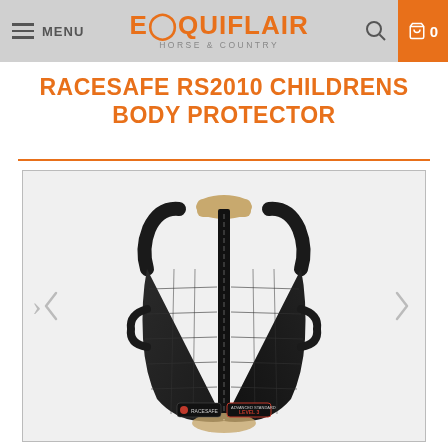MENU | EQUIFLAIR HORSE & COUNTRY | 0
RACESAFE RS2010 CHILDRENS BODY PROTECTOR
[Figure (photo): Black quilted children's body protector vest (Racesafe RS2010) shown front-on, with zipper closure, adjustable side straps, and foam padding panels. Left and right navigation arrows flank the product image.]